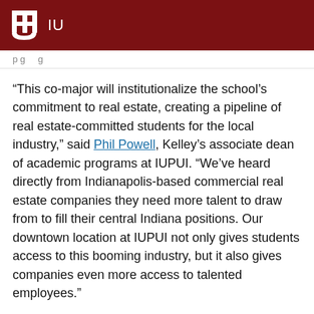IU
p g g
“This co-major will institutionalize the school’s commitment to real estate, creating a pipeline of real estate-committed students for the local industry,” said Phil Powell, Kelley’s associate dean of academic programs at IUPUI. “We’ve heard directly from Indianapolis-based commercial real estate companies they need more talent to draw from to fill their central Indiana positions. Our downtown location at IUPUI not only gives students access to this booming industry, but it also gives companies even more access to talented employees.”
The new program bundles five existing real estate courses into a 15-credit hour co-major. Kelley students at